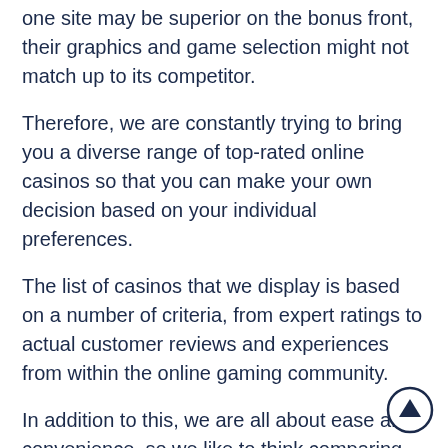one site may be superior on the bonus front, their graphics and game selection might not match up to its competitor.
Therefore, we are constantly trying to bring you a diverse range of top-rated online casinos so that you can make your own decision based on your individual preferences.
The list of casinos that we display is based on a number of criteria, from expert ratings to actual customer reviews and experiences from within the online gaming community.
In addition to this, we are all about ease and convenience, so we like to think comparing casinos on our site isn't a difficult task for you.
Due to the high number of online casino operators on the market at the moment, we highlight a few of the top rated